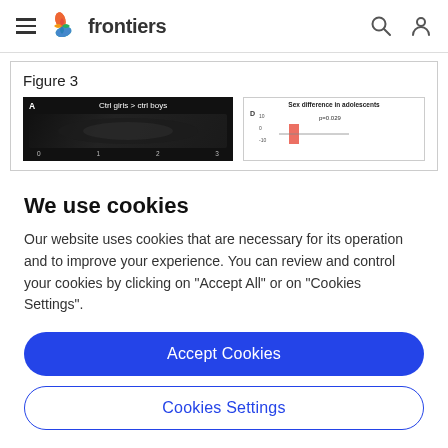frontiers
Figure 3
[Figure (screenshot): Figure 3 panel A showing brain image with label 'Ctrl girls > ctrl boys' and x-axis values 0, 1, 2, 3 on dark background; Panel D showing 'Sex difference in adolescents' chart with p=0.029 annotation and red bar element]
We use cookies
Our website uses cookies that are necessary for its operation and to improve your experience. You can review and control your cookies by clicking on "Accept All" or on "Cookies Settings".
Accept Cookies
Cookies Settings